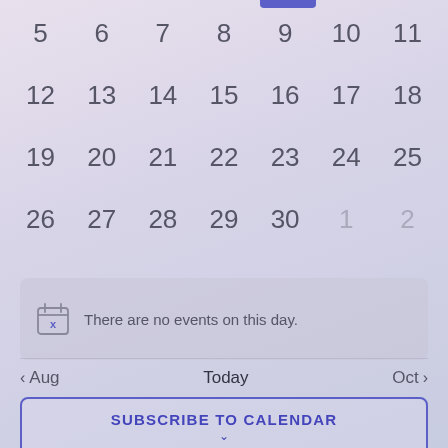[Figure (other): Calendar UI showing dates 5-11, 12-18, 19-25, 26-30 and 1-2 with a selected date highlighted, a no-events message, navigation controls for Aug/Today/Oct, and a Subscribe to Calendar button.]
There are no events on this day.
< Aug    Today    Oct >
SUBSCRIBE TO CALENDAR